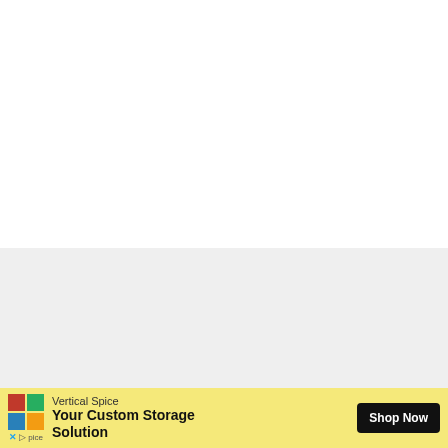[Figure (illustration): Yellow banner with dark brown text reading 'Give me 7 days...' on first line and 'I'll show you the mom' on second line, set against a light gray background. An orange arrow button is visible at the right edge.]
[Figure (infographic): Advertisement bar at the bottom with yellow background. Shows Vertical Spice logo (colorful grid icon), brand name 'Vertical Spice', tagline 'Your Custom Storage Solution', and a black 'Shop Now' button.]